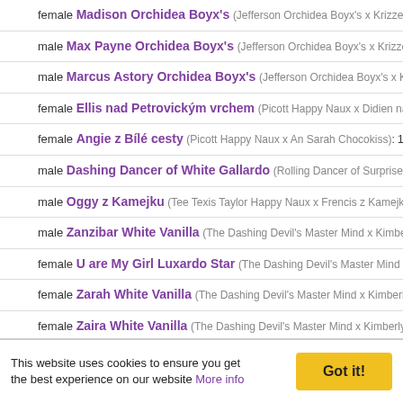female Madison Orchidea Boyx's (Jefferson Orchidea Boyx's x Krizzete White Olea…
male Max Payne Orchidea Boyx's (Jefferson Orchidea Boyx's x Krizzete White Olea…
male Marcus Astory Orchidea Boyx's (Jefferson Orchidea Boyx's x Krizzete White…
female Ellis nad Petrovickým vrchem (Picott Happy Naux x Didien nad Petrovickým…
female Angie z Bílé cesty (Picott Happy Naux x An Sarah Chocokiss): 1x P1, 1x M2…
male Dashing Dancer of White Gallardo (Rolling Dancer of Surprise x Leila Al-Mo…
male Oggy z Kamejku (Tee Texis Taylor Happy Naux x Frencis z Kamejku): 3x P1, 2x P…
male Zanzibar White Vanilla (The Dashing Devil's Master Mind x Kimberly Love White…
female U are My Girl Luxardo Star (The Dashing Devil's Master Mind x Chantal Happ…
female Zarah White Vanilla (The Dashing Devil's Master Mind x Kimberly Love White Va…
female Zaira White Vanilla (The Dashing Devil's Master Mind x Kimberly Love White Va…
female Agnes of Moondaisy Star (Tiberius of Marzipan x Victoria of Marzipan): 4x P…
female Alannis of Moondaisy Star (Tiberius of Marzipan x Victoria of Marzipan): 4x…
This website uses cookies to ensure you get the best experience on our website More info
Got it!